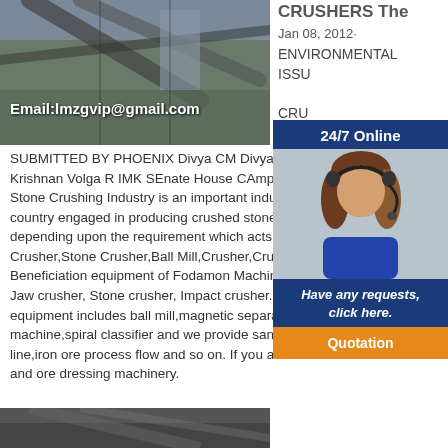[Figure (photo): Industrial stone crushing facility with conveyor belts and machinery, with email overlay text 'Email:lmzgvip@gmail.com']
CRUSHERS The
Jan 08, 2012·
ENVIRONMENTAL ISSU... CRU...
[Figure (photo): 24/7 Online customer service agent wearing headset with chat widget overlay showing 'Have any requests, click here.' and 'Quotation' button]
SUBMITTED BY PHOENIX Divya CM Divya Suda... Krishnan Volga R IMK SEnate House CAmpus 1... Stone Crushing Industry is an important industrial... country engaged in producing crushed stone of va... depending upon the requirement which acts asJa... Crusher,Stone Crusher,Ball Mill,Crusher,Crusher... Beneficiation equipment of Fodamon Machinery. Jaw crusher, Stone crusher, Impact crusher. mineral processing equipment includes ball mill,magnetic separator,floatation machine,spiral classifier and we provide sand stone production line,iron ore process flow and so on. If you are interested in crusher and ore dressing machinery.
[Figure (photo): Industrial stone crushing facility, partial view at bottom of page]